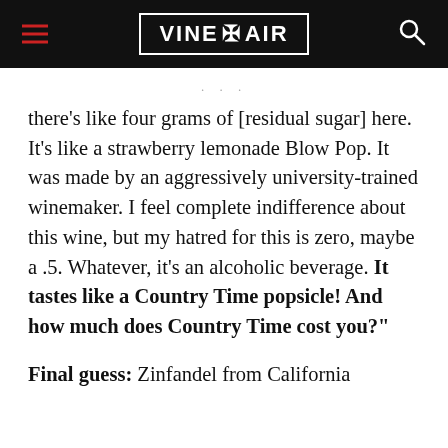VINEPAIR
there’s like four grams of [residual sugar] here. It’s like a strawberry lemonade Blow Pop. It was made by an aggressively university-trained winemaker. I feel complete indifference about this wine, but my hatred for this is zero, maybe a .5. Whatever, it’s an alcoholic beverage. It tastes like a Country Time popsicle! And how much does Country Time cost you?”
Final guess: Zinfandel from California